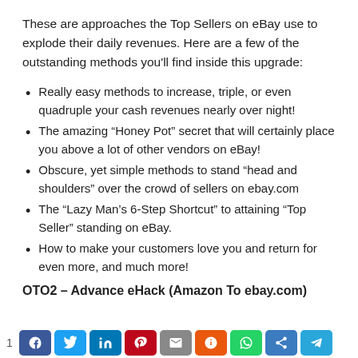These are approaches the Top Sellers on eBay use to explode their daily revenues. Here are a few of the outstanding methods you'll find inside this upgrade:
Really easy methods to increase, triple, or even quadruple your cash revenues nearly over night!
The amazing “Honey Pot” secret that will certainly place you above a lot of other vendors on eBay!
Obscure, yet simple methods to stand “head and shoulders” over the crowd of sellers on ebay.com
The “Lazy Man’s 6-Step Shortcut” to attaining “Top Seller” standing on eBay.
How to make your customers love you and return for even more, and much more!
OTO2 – Advance eHack (Amazon To ebay.com)
1